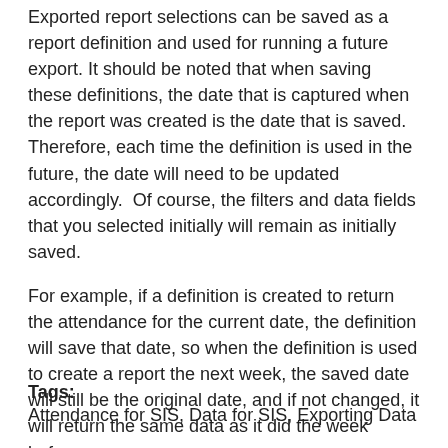Exported report selections can be saved as a report definition and used for running a future export. It should be noted that when saving these definitions, the date that is captured when the report was created is the date that is saved. Therefore, each time the definition is used in the future, the date will need to be updated accordingly.  Of course, the filters and data fields that you selected initially will remain as initially saved.
For example, if a definition is created to return the attendance for the current date, the definition will save that date, so when the definition is used to create a report the next week, the saved date will still be the original date, and if not changed, it will return the same data as it did the week before.
Tags: Attendance for SIS, Data for SIS, Exporting Data